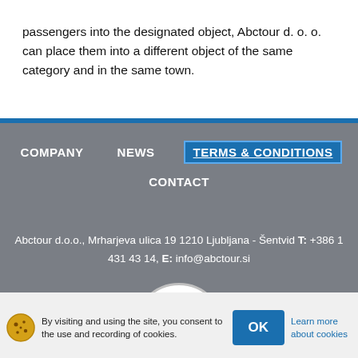passengers into the designated object, Abctour d. o. o. can place them into a different object of the same category and in the same town.
COMPANY   NEWS   TERMS & CONDITIONS   CONTACT
Abctour d.o.o., Mrharjeva ulica 19 1210 Ljubljana - Šentvid T: +386 1 431 43 14, E: info@abctour.si
[Figure (logo): Bonitetna 2018 AA+ CompanyWall badge/seal]
By visiting and using the site, you consent to the use and recording of cookies.